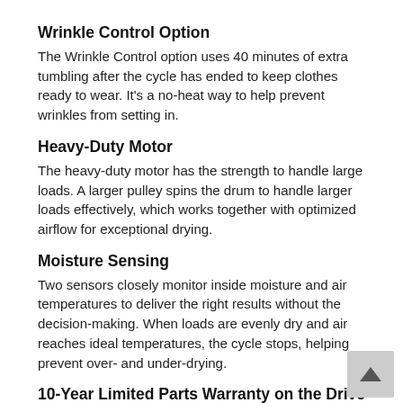Wrinkle Control Option
The Wrinkle Control option uses 40 minutes of extra tumbling after the cycle has ended to keep clothes ready to wear. It's a no-heat way to help prevent wrinkles from setting in.
Heavy-Duty Motor
The heavy-duty motor has the strength to handle large loads. A larger pulley spins the drum to handle larger loads effectively, which works together with optimized airflow for exceptional drying.
Moisture Sensing
Two sensors closely monitor inside moisture and air temperatures to deliver the right results without the decision-making. When loads are evenly dry and air reaches ideal temperatures, the cycle stops, helping prevent over- and under-drying.
10-Year Limited Parts Warranty on the Drive Motor and Dryer Drum
We back this Maytag® dryer to get your clothes dry for years with a 10-year limited parts warranty on the drive motor and dryer drum.